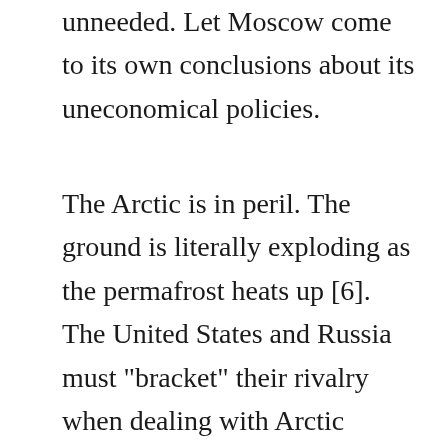unneeded. Let Moscow come to its own conclusions about its uneconomical policies.
The Arctic is in peril. The ground is literally exploding as the permafrost heats up [6]. The United States and Russia must "bracket" their rivalry when dealing with Arctic issues. Much of the Arctic is clearly within Russian territory. Recognizing this is the only way to keep the climate crisis a priority and effectively box-out expansionist China. It is time for Russia and America to break the ice and bring to the table